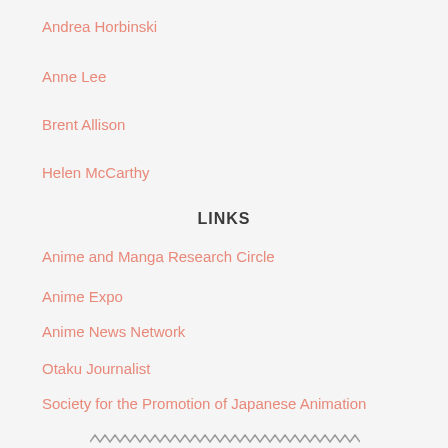Andrea Horbinski
Anne Lee
Brent Allison
Helen McCarthy
LINKS
Anime and Manga Research Circle
Anime Expo
Anime News Network
Otaku Journalist
Society for the Promotion of Japanese Animation
[Figure (illustration): Decorative zigzag/wavy line divider at the bottom of the page]